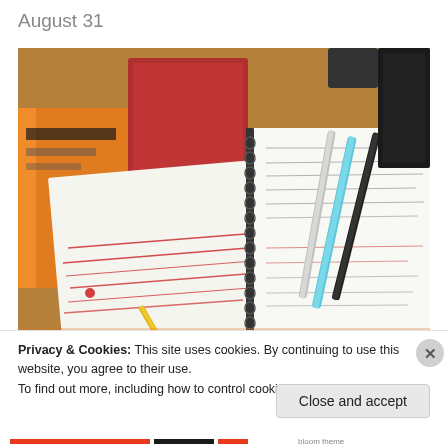August 31
[Figure (photo): Photo of open notebooks and journals on a desk with handwritten notes in red and black ink, multiple pens including a teal/blue pen, orange notebook, red notebook cover, and black binder visible]
Privacy & Cookies: This site uses cookies. By continuing to use this website, you agree to their use.
To find out more, including how to control cookies, see here: Cookie Policy
Close and accept